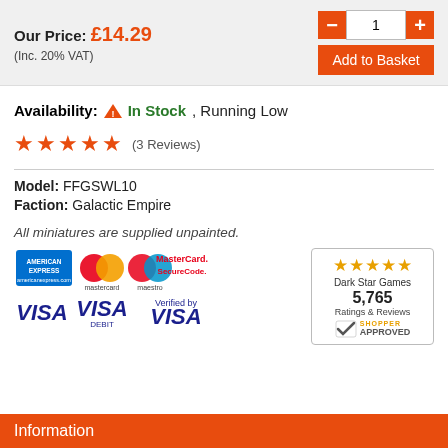Our Price: £14.29
(Inc. 20% VAT)
Availability: ⚠ In Stock, Running Low
★★★★★ (3 Reviews)
Model: FFGSWL10
Faction: Galactic Empire
All miniatures are supplied unpainted.
[Figure (logo): Payment logos: American Express, Mastercard, Maestro, MasterCard SecureCode, Visa, Visa Debit, Verified by Visa]
[Figure (logo): Shopper Approved badge: 5 stars, Dark Star Games, 5,765 Ratings & Reviews]
Information